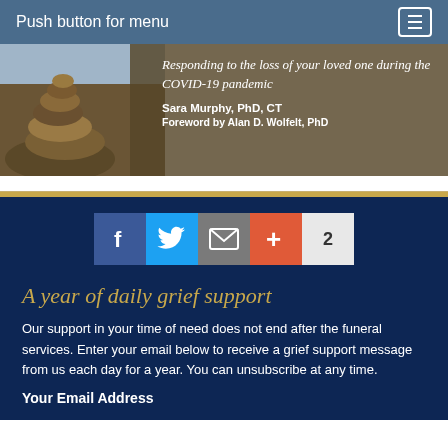Push button for menu
[Figure (photo): Book banner showing stacked rocks on left side and book title text on right: 'Responding to the loss of your loved one during the COVID-19 pandemic' by Sara Murphy, PhD, CT, Foreword by Alan D. Wolfelt, PhD]
[Figure (infographic): Social sharing buttons row: Facebook (blue), Twitter (light blue), Email (gray), Plus/share (orange-red), Count badge showing 2]
A year of daily grief support
Our support in your time of need does not end after the funeral services.  Enter your email below to receive a grief support message from us each day for a year.  You can unsubscribe at any time.
Your Email Address